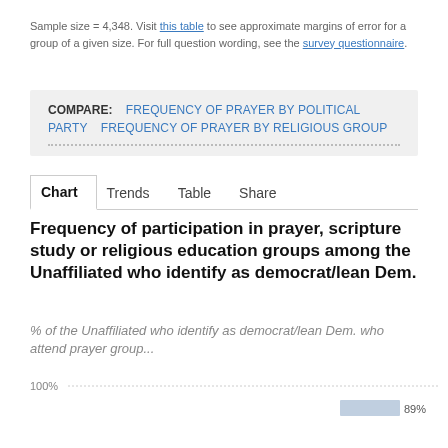Sample size = 4,348. Visit this table to see approximate margins of error for a group of a given size. For full question wording, see the survey questionnaire.
COMPARE: FREQUENCY OF PRAYER BY POLITICAL PARTY  FREQUENCY OF PRAYER BY RELIGIOUS GROUP
Chart  Trends  Table  Share
Frequency of participation in prayer, scripture study or religious education groups among the Unaffiliated who identify as democrat/lean Dem.
% of the Unaffiliated who identify as democrat/lean Dem. who attend prayer group...
[Figure (bar-chart): Frequency of participation in prayer group]